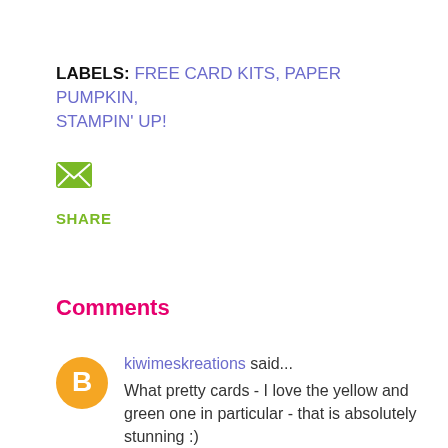LABELS: FREE CARD KITS, PAPER PUMPKIN, STAMPIN' UP!
[Figure (other): Green envelope/email icon]
SHARE
Comments
kiwimeskreations said... What pretty cards - I love the yellow and green one in particular - that is absolutely stunning :) Stay safe Blessings